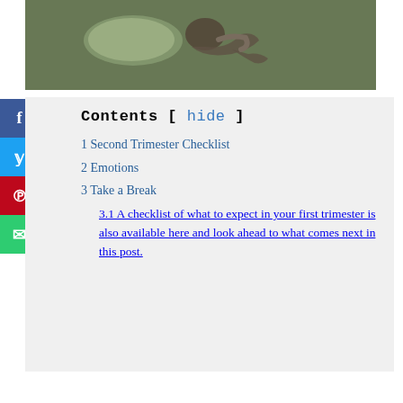[Figure (photo): Overhead view of a person lying on a green bed, curled on their side in a resting position]
Contents [ hide ]
1 Second Trimester Checklist
2 Emotions
3 Take a Break
3.1 A checklist of what to expect in your first trimester is also available here and look ahead to what comes next in this post.